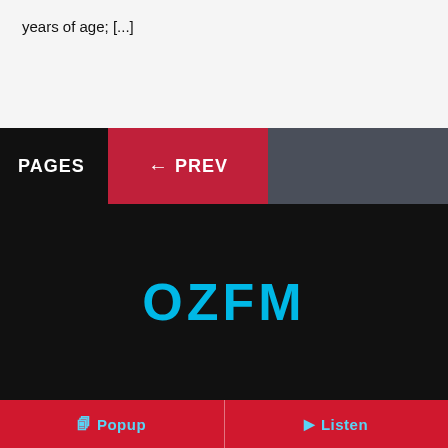years of age; [...]
PAGES  ← PREV
[Figure (logo): OZFM radio station logo in cyan/light blue text on black background]
SITE NAVIGATION
Popup  Listen